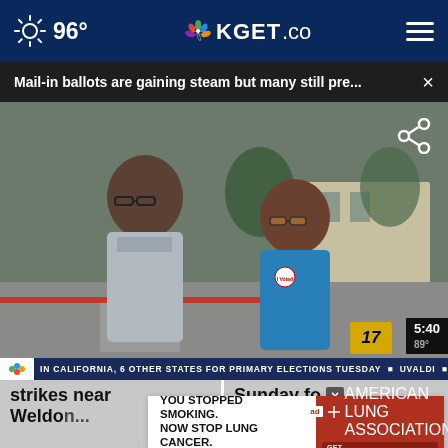96° KGET.com
Mail-in ballots are gaining steam but many still pre...
[Figure (screenshot): News video screenshot showing two women standing outside a building, one in a gray tank top and glasses, one in a blue t-shirt and glasses, appearing to be interviewed. Lower third ticker reads: IN CALIFORNIA, 6 OTHER STATES FOR PRIMARY ELECTIONS TUESDAY – UVALDI – NATIONAL HEADLINES. Time overlay shows 5:40, 89°. Channel bug shows 17.]
IN CALIFORNIA, 6 OTHER STATES FOR PRIMARY ELECTIONS TUESDAY    UVALDI    NATIONAL HEADLINES
strikes near Weldon
Sunday fo... Ranny Alarto
YOU STOPPED SMOKING. NOW STOP LUNG CANCER. Get SAVEDBYTIRESCAN.ORG